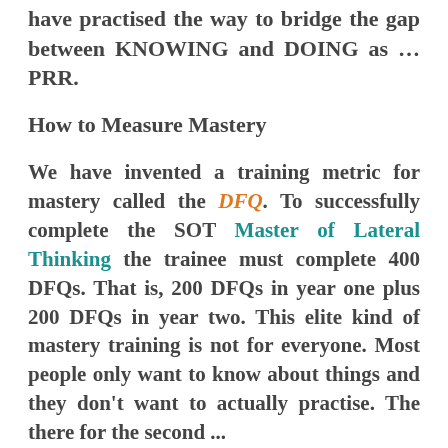have practised the way to bridge the gap between KNOWING and DOING as … PRR.
How to Measure Mastery
We have invented a training metric for mastery called the DFQ. To successfully complete the SOT Master of Lateral Thinking the trainee must complete 400 DFQs. That is, 200 DFQs in year one plus 200 DFQs in year two. This elite kind of mastery training is not for everyone. Most people only want to know about things and they don't want to actually practise. The there for the second ...